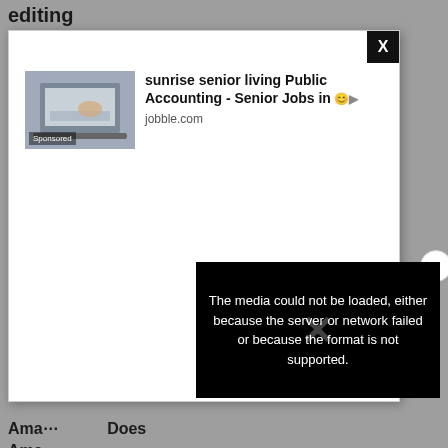editing
11 Free Music Apps Without Ads | 2022 List
[Figure (screenshot): Advertisement modal popup showing a sponsored job listing for 'sunrise senior living Public Accounting - Senior Jobs in...' from jobble.com, with a laptop/accounting image on the left marked as Sponsored, and a black X close button in the top-right corner. A circular X close button appears on the right side of the modal.]
[Figure (screenshot): Black video player error box reading: 'The media could not be loaded, either because the server or network failed or because the format is not supported.' with a large X watermark overlay.]
Ama... Does Ama...
[Figure (screenshot): Bottom advertisement bar showing product images (phone cases and accessories) with NOCME branding and navigation arrow icons.]